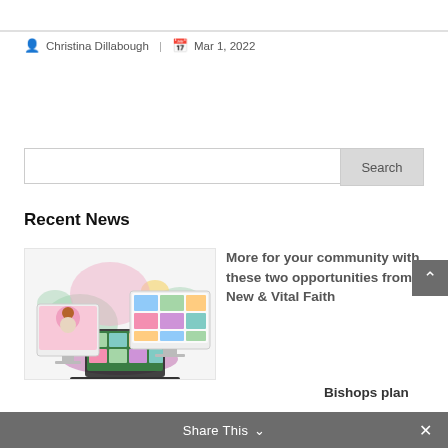Christina Dillabough | Mar 1, 2022
[Figure (screenshot): Search bar with text input and Search button]
Recent News
[Figure (illustration): Illustration of video conferencing on computers and laptop with diverse avatars, colorful blob shapes in background]
More for your community with these two opportunities from New & Vital Faith
Bishops plan
Share This ˅ ✕